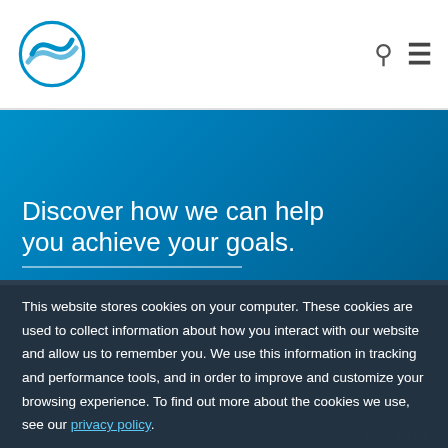[Figure (logo): Blue circular wave/ocean logo icon]
Discover how we can help you achieve your goals.
This website stores cookies on your computer. These cookies are used to collect information about how you interact with our website and allow us to remember you. We use this information in tracking and performance tools, and in order to improve and customize your browsing experience. To find out more about the cookies we use, see our privacy policy.
Accept